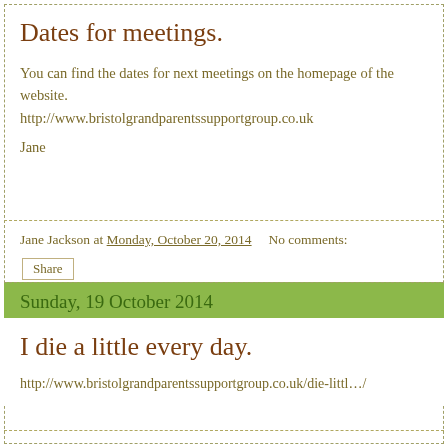Dates for meetings.
You can find the dates for next meetings on the homepage of the website.
http://www.bristolgrandparentssupportgroup.co.uk
Jane
Jane Jackson at Monday, October 20, 2014    No comments:
Share
Sunday, 19 October 2014
I die a little every day.
http://www.bristolgrandparentssupportgroup.co.uk/die-littl…/